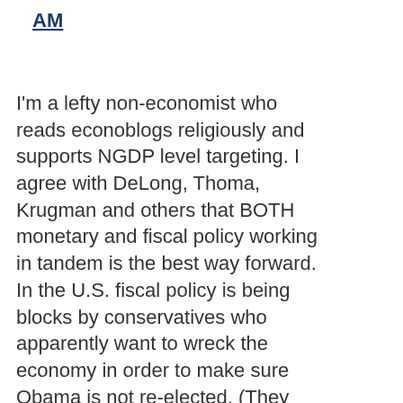AM
I'm a lefty non-economist who reads econoblogs religiously and supports NGDP level targeting. I agree with DeLong, Thoma, Krugman and others that BOTH monetary and fiscal policy working in tandem is the best way forward. In the U.S. fiscal policy is being blocks by conservatives who apparently want to wreck the economy in order to make sure Obama is not re-elected. (They also sent an intimidating letter to Bernanke.) Conservative and